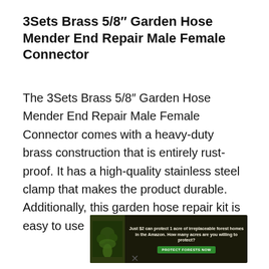3Sets Brass 5/8″ Garden Hose Mender End Repair Male Female Connector
The 3Sets Brass 5/8″ Garden Hose Mender End Repair Male Female Connector comes with a heavy-duty brass construction that is entirely rust-proof. It has a high-quality stainless steel clamp that makes the product durable. Additionally, this garden hose repair kit is easy to use
[Figure (other): Advertisement banner: forest/Amazon conservation ad with text 'Just $2 can protect 1 acre of irreplaceable forest homes in the Amazon. How many acres are you willing to protect?' and green button 'PROTECT FORESTS NOW']